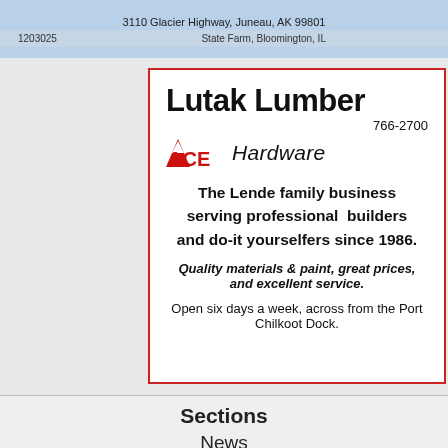3110 Glacier Highway, Juneau, AK 99801
1203025   State Farm, Bloomington, IL
[Figure (illustration): Lutak Lumber ACE Hardware advertisement. Title: Lutak Lumber. Phone: 766-2700. ACE Hardware logo. Text: The Lende family business serving professional builders and do-it yourselfers since 1986. Quality materials & paint, great prices, and excellent service. Open six days a week, across from the Port Chilkoot Dock.]
Sections
News
Letters